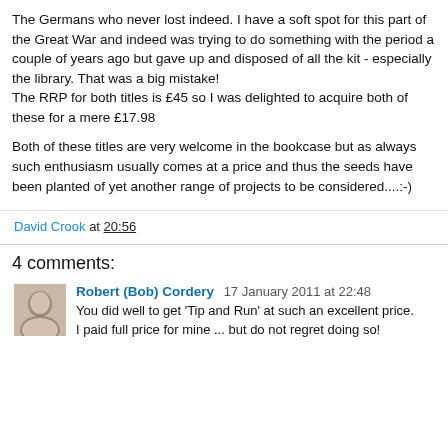The Germans who never lost indeed. I have a soft spot for this part of the Great War and indeed was trying to do something with the period a couple of years ago but gave up and disposed of all the kit - especially the library. That was a big mistake!
The RRP for both titles is £45 so I was delighted to acquire both of these for a mere £17.98
Both of these titles are very welcome in the bookcase but as always such enthusiasm usually comes at a price and thus the seeds have been planted of yet another range of projects to be considered....:-)
David Crook at 20:56
4 comments:
Robert (Bob) Cordery  17 January 2011 at 22:48
You did well to get 'Tip and Run' at such an excellent price. I paid full price for mine ... but do not regret doing so!